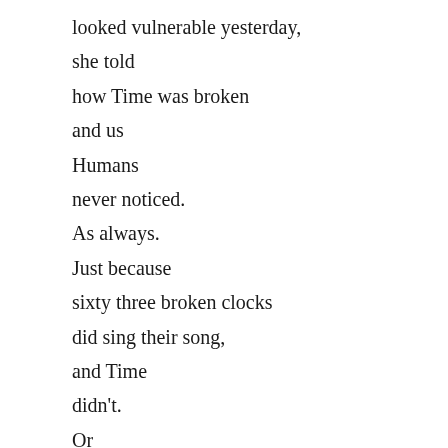looked vulnerable yesterday,
she told
how Time was broken
and us
Humans
never noticed.
As always.
Just because
sixty three broken clocks
did sing their song,
and Time
didn't.
Or
the pain looked beautiful,